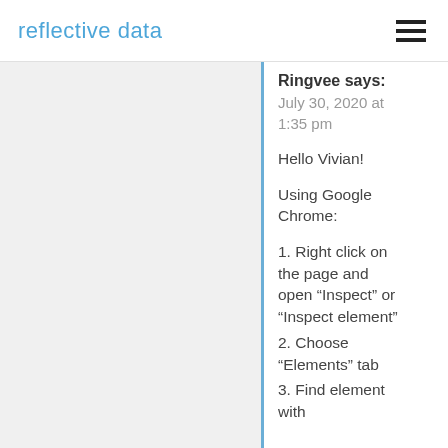reflective data
Ringvee says:
July 30, 2020 at 1:35 pm
Hello Vivian!
Using Google Chrome:
1. Right click on the page and open “Inspect” or “Inspect element”
2. Choose “Elements” tab
3. Find element with